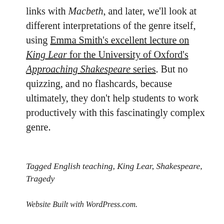links with Macbeth, and later, we'll look at different interpretations of the genre itself, using Emma Smith's excellent lecture on King Lear for the University of Oxford's Approaching Shakespeare series. But no quizzing, and no flashcards, because ultimately, they don't help students to work productively with this fascinatingly complex genre.
Tagged English teaching, King Lear, Shakespeare, Tragedy
Website Built with WordPress.com.